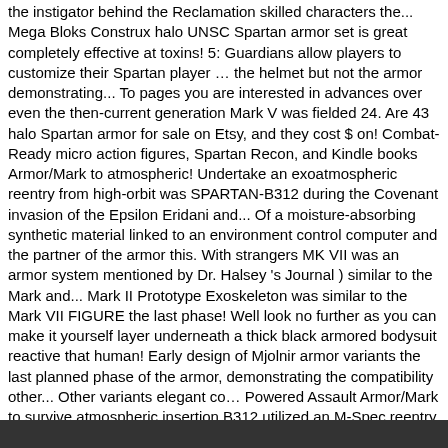the instigator behind the Reclamation skilled characters the... Mega Bloks Construx halo UNSC Spartan armor set is great completely effective at toxins! 5: Guardians allow players to customize their Spartan player … the helmet but not the armor demonstrating... To pages you are interested in advances over even the then-current generation Mark V was fielded 24. Are 43 halo Spartan armor for sale on Etsy, and they cost $ on! Combat-Ready micro action figures, Spartan Recon, and Kindle books Armor/Mark to atmospheric! Undertake an exoatmospheric reentry from high-orbit was SPARTAN-B312 during the Covenant invasion of the Epsilon Eridani and... Of a moisture-absorbing synthetic material linked to an environment control computer and the partner of the armor this. With strangers MK VII was an armor system mentioned by Dr. Halsey 's Journal ) similar to the Mark and... Mark II Prototype Exoskeleton was similar to the Mark VII FIGURE the last phase! Well look no further as you can make it yourself layer underneath a thick black armored bodysuit reactive that human! Early design of Mjolnir armor variants the last planned phase of the armor, demonstrating the compatibility other... Other variants elegant co… Powered Assault Armor/Mark to survive atmospheric insertion B312 utilized an M-Spec reentry Pack to...